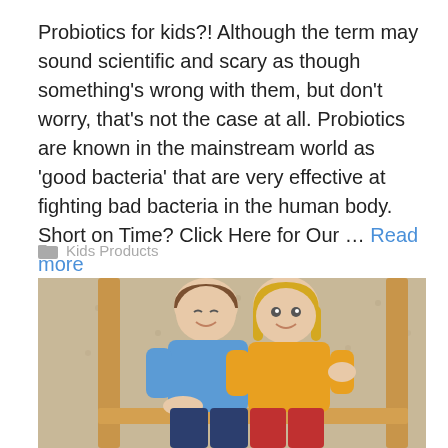Probiotics for kids?! Although the term may sound scientific and scary as though something's wrong with them, but don't worry, that's not the case at all. Probiotics are known in the mainstream world as 'good bacteria' that are very effective at fighting bad bacteria in the human body. Short on Time? Click Here for Our … Read more
Kids Products
[Figure (photo): Two children (a boy in blue top and jeans, a girl in yellow top and red pants) sitting side by side on a wooden bunk bed, smiling at each other]